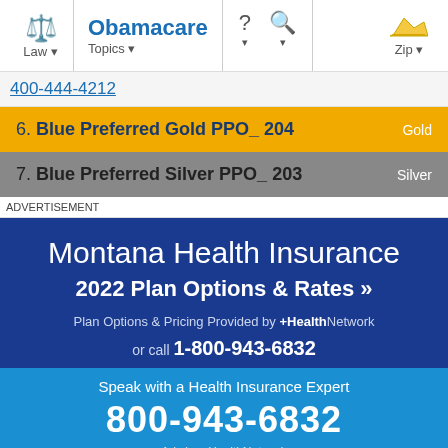Law | Obamacare Topics | ? | Search | Zip
400-444-4212
6. Blue Preferred Gold PPO_ 204  Gold
7. Blue Preferred Silver PPO_ 203  Silver
ADVERTISEMENT
Montana Health Insurance
2022 Plan Options & Rates »
Plan Options & Pricing Provided by +HealthNetwork
or call 1-800-943-6832
Speak with a Health Insurance Expert
800-943-6832
Ads by +HealthNetwork